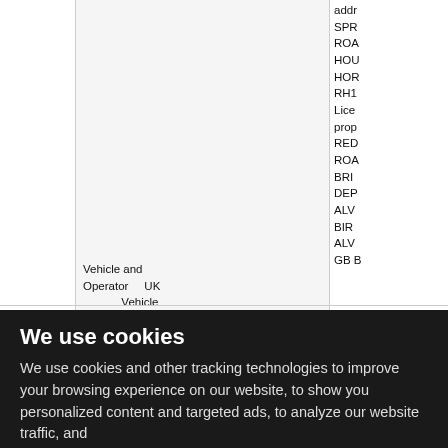addr
SPR
ROA
HOU
HOR
RH1
Lice
prop
RED
ROA
BRI
DEP
ALV
BIR
ALV
GB B
Vehicle and Operator
UK Vehicle
Standard GB448581 Act
We use cookies
We use cookies and other tracking technologies to improve your browsing experience on our website, to show you personalized content and targeted ads, to analyze our website traffic, and